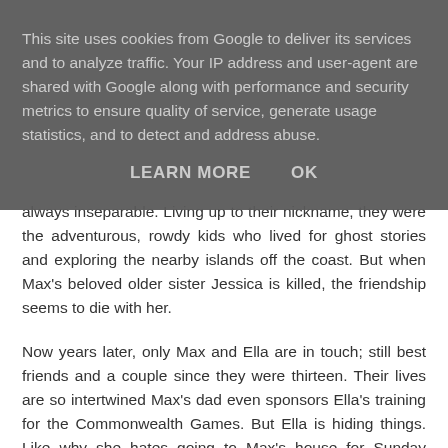This site uses cookies from Google to deliver its services and to analyze traffic. Your IP address and user-agent are shared with Google along with performance and security metrics to ensure quality of service, generate usage statistics, and to detect and address abuse.
LEARN MORE   OK
always inseparable. Living up to their nickname, they were the adventurous, rowdy kids who lived for ghost stories and exploring the nearby islands off the coast. But when Max's beloved older sister Jessica is killed, the friendship seems to die with her.
Now years later, only Max and Ella are in touch; still best friends and a couple since they were thirteen. Their lives are so intertwined Max's dad even sponsors Ella's training for the Commonwealth Games. But Ella is hiding things. Like why she hates going to Max's house for Sunday dinner, and flinches whenever his family are near. Or the real reason she's afraid to take their relationship to the next level.
When underdog Corey is bullied, the fearless five are